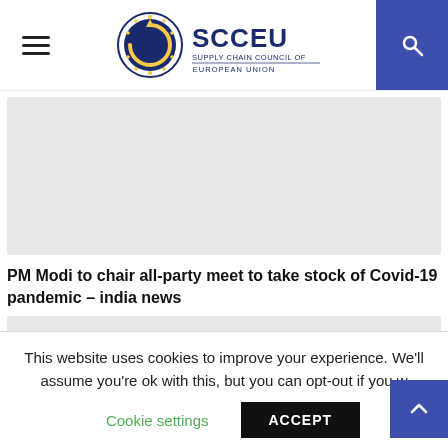SCCEU Supply Chain Council of European Union
[Figure (other): Gray placeholder image box at top]
PM Modi to chair all-party meet to take stock of Covid-19 pandemic – india news
[Figure (other): Gray placeholder image box below title]
This website uses cookies to improve your experience. We'll assume you're ok with this, but you can opt-out if you w
Cookie settings
ACCEPT